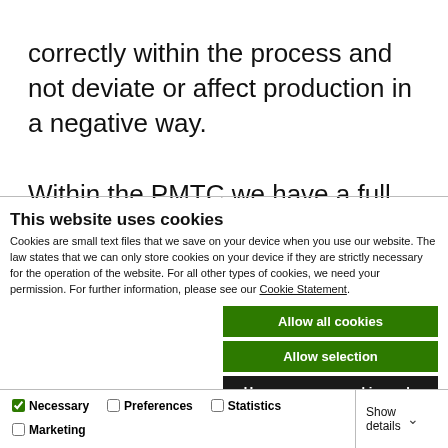correctly within the process and not deviate or affect production in a negative way.
Within the PMTC we have a full suite of analysis equipment for the characterisation of
This website uses cookies
Cookies are small text files that we save on your device when you use our website. The law states that we can only store cookies on your device if they are strictly necessary for the operation of the website. For all other types of cookies, we need your permission. For further information, please see our Cookie Statement.
Allow all cookies
Allow selection
Use necessary cookies only
Necessary  Preferences  Statistics  Marketing  Show details